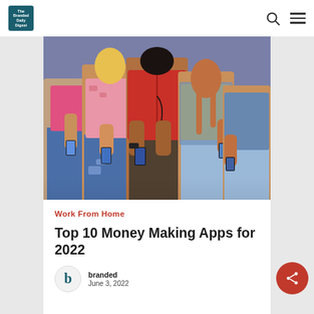The Branded Daily Digest
[Figure (photo): Group of young people lying on the floor looking at their smartphones, wearing colorful outfits including pink, red, and yellow tops with jeans]
Work From Home
Top 10 Money Making Apps for 2022
branded
June 3, 2022